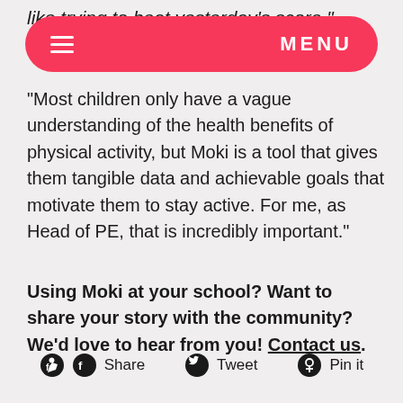like trying to beat yesterday’s score.”
MENU
“Most children only have a vague understanding of the health benefits of physical activity, but Moki is a tool that gives them tangible data and achievable goals that motivate them to stay active. For me, as Head of PE, that is incredibly important.”
Using Moki at your school? Want to share your story with the community? We’d love to hear from you! Contact us.
Share  Tweet  Pin it